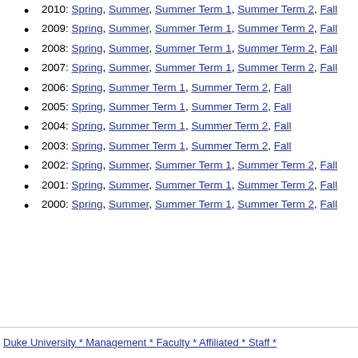2010: Spring, Summer, Summer Term 1, Summer Term 2, Fall
2009: Spring, Summer, Summer Term 1, Summer Term 2, Fall
2008: Spring, Summer, Summer Term 1, Summer Term 2, Fall
2007: Spring, Summer, Summer Term 1, Summer Term 2, Fall
2006: Spring, Summer Term 1, Summer Term 2, Fall
2005: Spring, Summer Term 1, Summer Term 2, Fall
2004: Spring, Summer Term 1, Summer Term 2, Fall
2003: Spring, Summer Term 1, Summer Term 2, Fall
2002: Spring, Summer, Summer Term 1, Summer Term 2, Fall
2001: Spring, Summer, Summer Term 1, Summer Term 2, Fall
2000: Spring, Summer, Summer Term 1, Summer Term 2, Fall
Duke University * Management * Faculty * Affiliated * Staff *